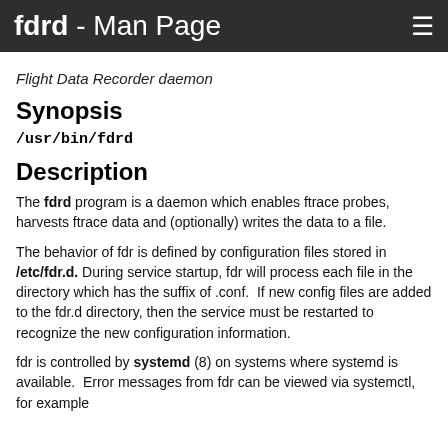fdrd - Man Page
Flight Data Recorder daemon
Synopsis
/usr/bin/fdrd
Description
The fdrd program is a daemon which enables ftrace probes, harvests ftrace data and (optionally) writes the data to a file.
The behavior of fdr is defined by configuration files stored in /etc/fdr.d. During service startup, fdr will process each file in the directory which has the suffix of .conf.  If new config files are added to the fdr.d directory, then the service must be restarted to recognize the new configuration information.
fdr is controlled by systemd (8) on systems where systemd is available.  Error messages from fdr can be viewed via systemctl, for example